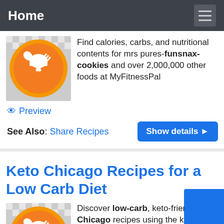Home
Find calories, carbs, and nutritional contents for mrs pures-funsnax-cookies and over 2,000,000 other foods at MyFitnessPal
Preview
See Also: Share Recipes
Keto Chicago Recipes for a Low Carb Diet
Discover low-carb, keto-friendly Chicago recipes using the keto food search engine. Protect your waist, eat healthy, and conform to keto diet